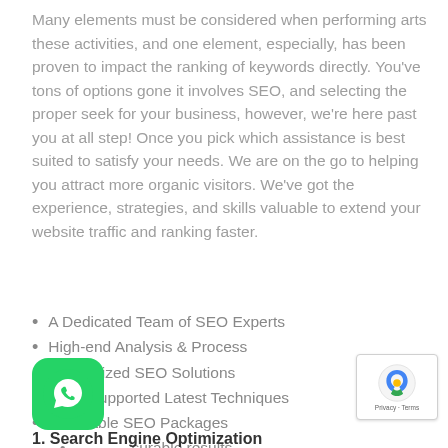Many elements must be considered when performing arts these activities, and one element, especially, has been proven to impact the ranking of keywords directly. You've tons of options gone it involves SEO, and selecting the proper seek for your business, however, we're here past you at all step! Once you pick which assistance is best suited to satisfy your needs. We are on the go to helping you attract more organic visitors. We've got the experience, strategies, and skills valuable to extend your website traffic and ranking faster.
A Dedicated Team of SEO Experts
High-end Analysis & Process
Customized SEO Solutions
Work Supported Latest Techniques
Affordable SEO Packages
surable results
1. Search Engine Optimization